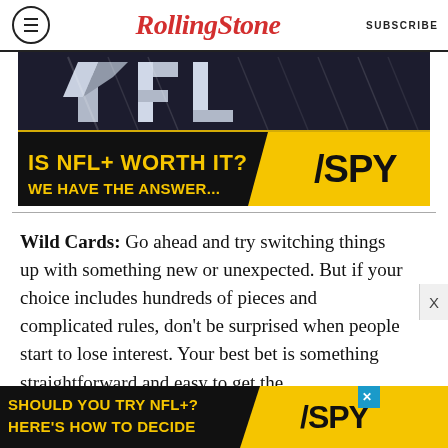RollingStone | SUBSCRIBE
[Figure (infographic): Advertisement banner for SPY: 'IS NFL+ WORTH IT? WE HAVE THE ANSWER...' with dark background, yellow text, and SPY logo on yellow diagonal background.]
Wild Cards: Go ahead and try switching things up with something new or unexpected. But if your choice includes hundreds of pieces and complicated rules, don't be surprised when people start to lose interest. Your best bet is something straightforward and easy to get the
[Figure (infographic): Advertisement banner for SPY: 'SHOULD YOU TRY NFL+? HERE'S HOW TO DECIDE' with dark background, yellow text, and SPY logo.]